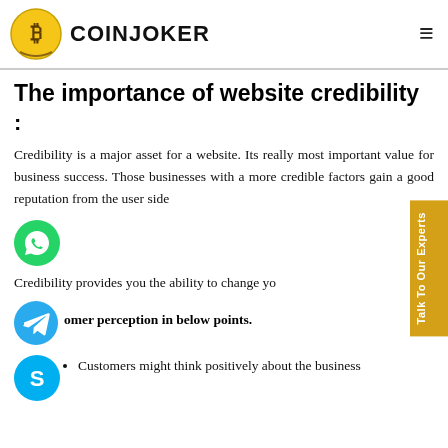COINJOKER
The importance of website credibility
:
Credibility is a major asset for a website. Its really most important value for business success. Those businesses with a more credible factors gain a good reputation from the user side
[Figure (illustration): WhatsApp green circle icon]
Credibility provides you the ability to change yo customer perception in below points.
[Figure (illustration): Telegram blue circle icon]
Customers might think positively about the business
[Figure (illustration): Skype light blue circle icon]